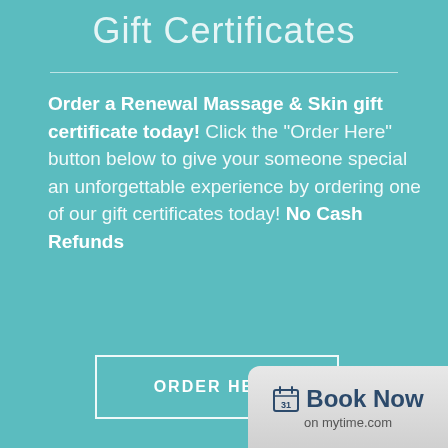Gift Certificates
Order a Renewal Massage & Skin gift certificate today! Click the "Order Here" button below to give your someone special an unforgettable experience by ordering one of our gift certificates today! No Cash Refunds
[Figure (other): ORDER HERE button — a rectangular white-bordered button with the text ORDER HERE in white uppercase letters on a teal background]
[Figure (other): Book Now widget — a rounded rectangle widget with calendar icon and text 'Book Now on mytime.com']